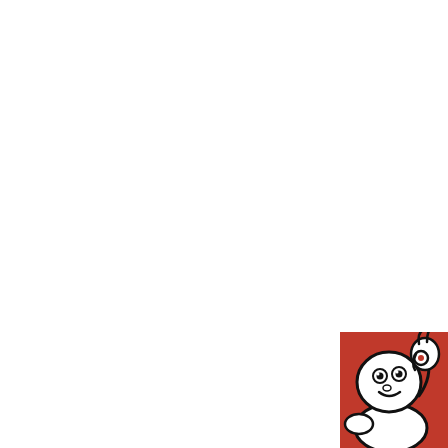APNIC — Thank you for helping us measure the Internet.
arbiter of haute cuisine. Many chefs base their entire identity on getting three Michelin stars, the ultimate culinary accolade, and, in so doing, self-inflict extreme pressure to be labeled “exceptional.”
The
[Figure (illustration): Michelin Man (Bibendum) mascot illustration on a red background, making an OK gesture with his right hand, smiling, shown from the torso up. Black and white line art on red.]